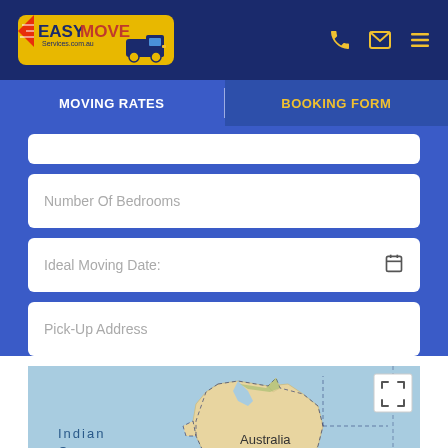EasyMove Services - Header with logo, phone, email, and menu icons
MOVING RATES | BOOKING FORM
[Figure (screenshot): Booking form with fields: Number Of Bedrooms, Ideal Moving Date (with calendar icon), Pick-Up Address, and an embedded Google Map showing Australia with Indian Ocean label, Google branding, Keyboard shortcuts, Map data ©2022, Terms of Use]
Number Of Bedrooms
Ideal Moving Date:
Pick-Up Address
[Figure (map): Google Map showing Australia continent with Indian Ocean label on the left, dotted border around Australia, fullscreen button in top-right corner. Footer shows: Google logo, Keyboard shortcuts, Map data ©2022, Terms of Use]